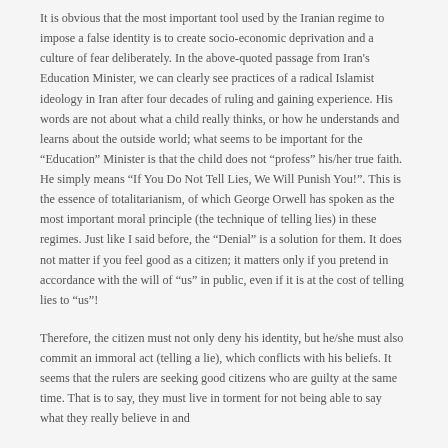It is obvious that the most important tool used by the Iranian regime to impose a false identity is to create socio-economic deprivation and a culture of fear deliberately. In the above-quoted passage from Iran's Education Minister, we can clearly see practices of a radical Islamist ideology in Iran after four decades of ruling and gaining experience. His words are not about what a child really thinks, or how he understands and learns about the outside world; what seems to be important for the “Education” Minister is that the child does not “profess” his/her true faith. He simply means “If You Do Not Tell Lies, We Will Punish You!”. This is the essence of totalitarianism, of which George Orwell has spoken as the most important moral principle (the technique of telling lies) in these regimes. Just like I said before, the “Denial” is a solution for them. It does not matter if you feel good as a citizen; it matters only if you pretend in accordance with the will of “us” in public, even if it is at the cost of telling lies to “us”!
Therefore, the citizen must not only deny his identity, but he/she must also commit an immoral act (telling a lie), which conflicts with his beliefs. It seems that the rulers are seeking good citizens who are guilty at the same time. That is to say, they must live in torment for not being able to say what they really believe in and